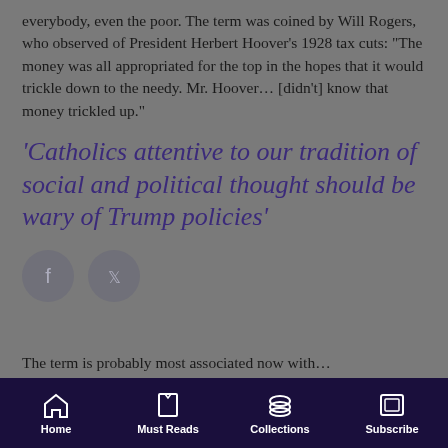everybody, even the poor. The term was coined by Will Rogers, who observed of President Herbert Hoover's 1928 tax cuts: “The money was all appropriated for the top in the hopes that it would trickle down to the needy. Mr. Hoover… [didn’t] know that money trickled up.”
‘Catholics attentive to our tradition of social and political thought should be wary of Trump policies’
[Figure (other): Social media share icons: Facebook and Twitter circular buttons]
The term is probably most associated now with…
Home | Must Reads | Collections | Subscribe